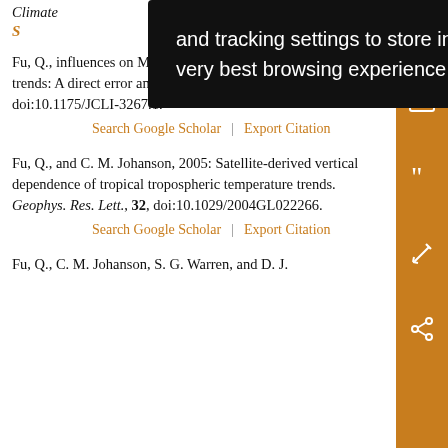Climate... S...
Fu, Q., ...influences on MSU-derived tropospheric temperature trends: A direct error analysis. J. Climate, 17, 4636–4640, doi:10.1175/JCLI-3267.1.
Search Google Scholar | Export Citation
Fu, Q., and C. M. Johanson, 2005: Satellite-derived vertical dependence of tropical tropospheric temperature trends. Geophys. Res. Lett., 32, doi:10.1029/2004GL022266.
Search Google Scholar | Export Citation
Fu, Q., C. M. Johanson, S. G. Warren, and D. J.